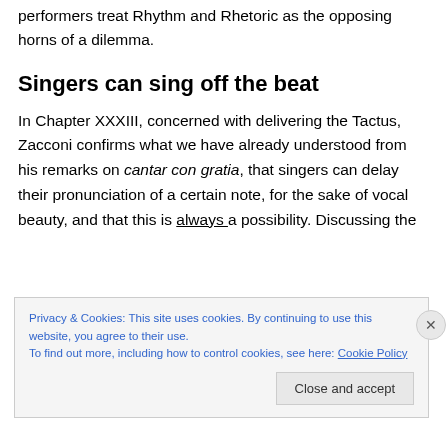performers treat Rhythm and Rhetoric as the opposing horns of a dilemma.
Singers can sing off the beat
In Chapter XXXIII, concerned with delivering the Tactus, Zacconi confirms what we have already understood from his remarks on cantar con gratia, that singers can delay their pronunciation of a certain note, for the sake of vocal beauty, and that this is always a possibility. Discussing the
Privacy & Cookies: This site uses cookies. By continuing to use this website, you agree to their use.
To find out more, including how to control cookies, see here: Cookie Policy
Close and accept